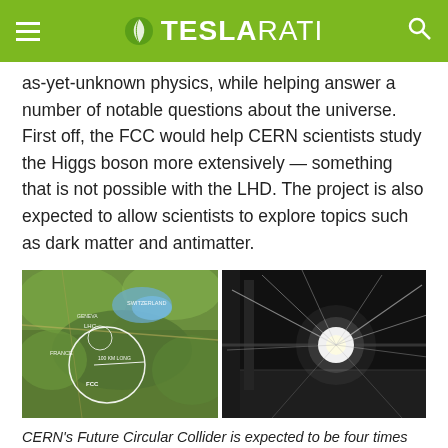TESLARATI
as-yet-unknown physics, while helping answer a number of notable questions about the universe. First off, the FCC would help CERN scientists study the Higgs boson more extensively — something that is not possible with the LHD. The project is also expected to allow scientists to explore topics such as dark matter and antimatter.
[Figure (photo): Two side-by-side photos: left shows an aerial/satellite map view of the CERN FCC circular collider route labeled '100 KM LONG', overlaid on a landscape; right shows a dark particle collision image with bright light burst and streaks.]
CERN's Future Circular Collider is expected to be four times as large and up to six times more powerful than its predecessor. (Photos: CERN)
While the possibilities presented by CERN's proposed 100-